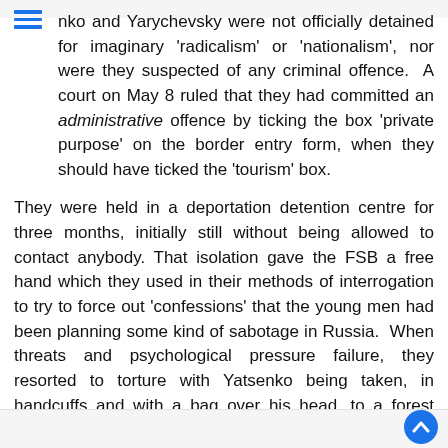nko and Yarychevsky were not officially detained for imaginary 'radicalism' or 'nationalism', nor were they suspected of any criminal offence. A court on May 8 ruled that they had committed an administrative offence by ticking the box 'private purpose' on the border entry form, when they should have ticked the 'tourism' box.
They were held in a deportation detention centre for three months, initially still without being allowed to contact anybody. That isolation gave the FSB a free hand which they used in their methods of interrogation to try to force out 'confessions' that the young men had been planning some kind of sabotage in Russia. When threats and psychological pressure failure, they resorted to torture with Yatsenko being taken, in handcuffs and with a bag over his head, to a forest where three officers 'worked on him' for several hours. Yarychevsky explains that the torture was bad enough to not be endured many times and the two young men understood that they must somehow contact their relatives. They slashed themselves, causing quite deep wounds and in way managed to get admitted to an emergency hospita giving them the chance to alert their families.